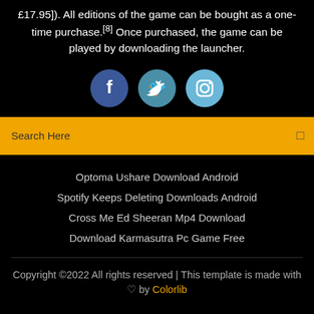£17.95]). All editions of the game can be bought as a one-time purchase.[8] Once purchased, the game can be played by downloading the launcher.
[Figure (illustration): Three social media circular icon buttons: Facebook (dark blue), Twitter (medium blue), Instagram (light blue)]
Search Here
Optoma Ushare Download Android
Spotify Keeps Deleting Downloads Android
Cross Me Ed Sheeran Mp4 Download
Download Karmasutra Pc Game Free
Copyright ©2022 All rights reserved | This template is made with ♡ by Colorlib